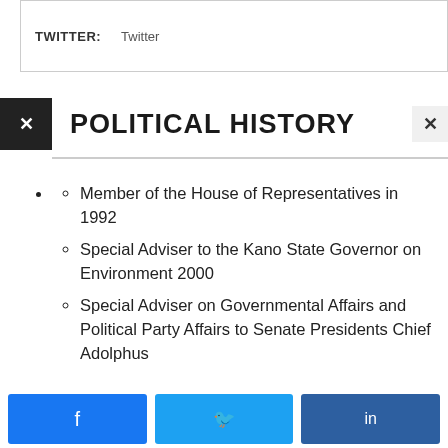| Field | Value |
| --- | --- |
| TWITTER: | Twitter |
POLITICAL HISTORY
Member of the House of Representatives in 1992
Special Adviser to the Kano State Governor on Environment 2000
Special Adviser on Governmental Affairs and Political Party Affairs to Senate Presidents Chief Adolphus